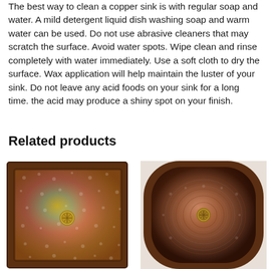The best way to clean a copper sink is with regular soap and water. A mild detergent liquid dish washing soap and warm water can be used. Do not use abrasive cleaners that may scratch the surface. Avoid water spots. Wipe clean and rinse completely with water immediately. Use a soft cloth to dry the surface. Wax application will help maintain the luster of your sink. Do not leave any acid foods on your sink for a long time. the acid may produce a shiny spot on your finish.
Related products
[Figure (photo): Top-down view of a square copper kitchen sink with hammered texture and a brass drain in the center, shown with colorful iridescent patina.]
[Figure (photo): Top-down view of a round/square copper sink with hammered concentric circle texture and a small drain in the center, dark copper patina.]